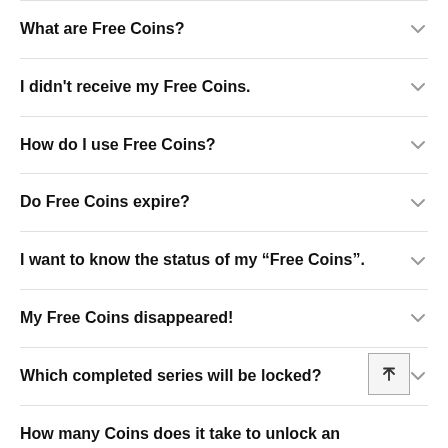What are Free Coins?
I didn't receive my Free Coins.
How do I use Free Coins?
Do Free Coins expire?
I want to know the status of my “Free Coins”.
My Free Coins disappeared!
Which completed series will be locked?
How many Coins does it take to unlock an